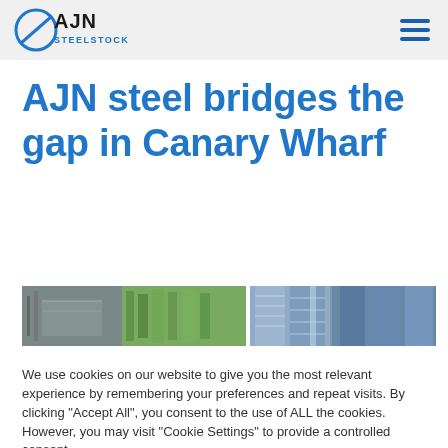AJN STEELSTOCK
AJN steel bridges the gap in Canary Wharf
[Figure (photo): Two side-by-side photographs: left shows a modern building exterior with steel and green trees; right shows upward view of glass skyscrapers in Canary Wharf]
We use cookies on our website to give you the most relevant experience by remembering your preferences and repeat visits. By clicking "Accept All", you consent to the use of ALL the cookies. However, you may visit "Cookie Settings" to provide a controlled consent.
Cookie Settings | Accept All